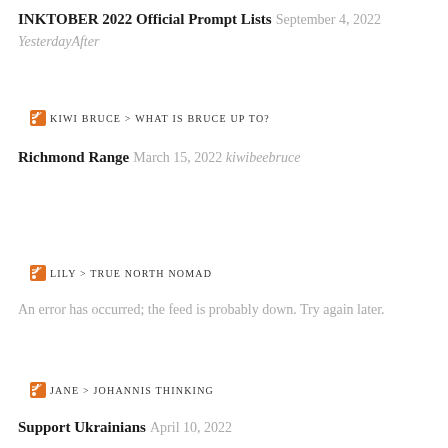INKTOBER 2022 Official Prompt Lists September 4, 2022
YesterdayAfter
KIWI BRUCE > WHAT IS BRUCE UP TO?
Richmond Range March 15, 2022 kiwibeebruce
LILY > TRUE NORTH NOMAD
An error has occurred; the feed is probably down. Try again later.
JANE > JOHANNIS THINKING
Support Ukrainians April 10, 2022